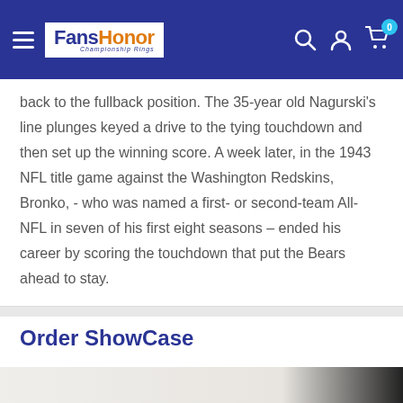FansHonor Championship Rings — Navigation bar with hamburger menu, logo, search, account, and cart (0) icons
back to the fullback position. The 35-year old Nagurski's line plunges keyed a drive to the tying touchdown and then set up the winning score. A week later, in the 1943 NFL title game against the Washington Redskins, Bronko, - who was named a first- or second-team All-NFL in seven of his first eight seasons – ended his career by scoring the touchdown that put the Bears ahead to stay.
Order ShowCase
[Figure (photo): Partial view of a framed display case or shadow box, showing a light-colored background with what appears to be a dark edge on the right side.]